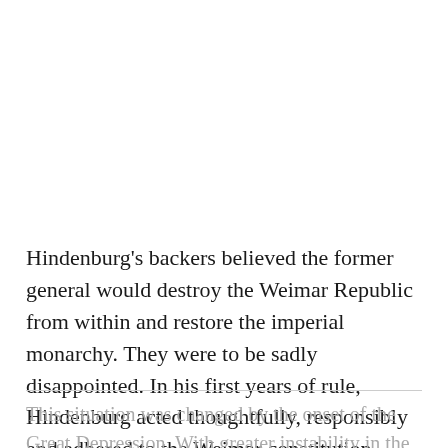Hindenburg's backers believed the former general would destroy the Weimar Republic from within and restore the imperial monarchy. They were to be sadly disappointed. In his first years of rule, Hindenburg acted thoughtfully, responsibly and adhered to the Weimar constitution.
This situation was changed by the onset of the Great Depression. With greater instability in the Reichstag